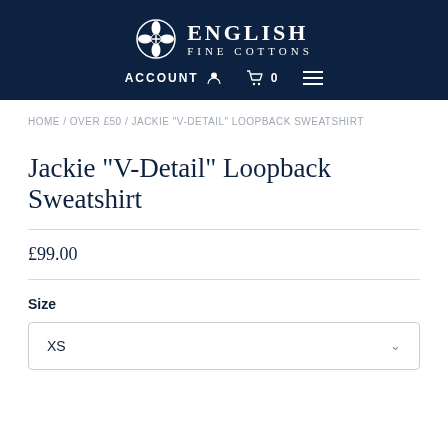ENGLISH FINE COTTONS — ACCOUNT  🛒 0  ☰
HOME / OVER £50 / JACKIE "V-DETAIL" LOOPBACK SWEATSHIRT
Jackie "V-Detail" Loopback Sweatshirt
£99.00
Size
XS